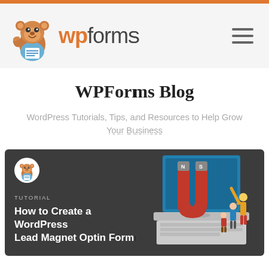WPForms navigation header with logo and hamburger menu
WPForms Blog
WordPress Tutorials, Tips, and Resources to Help Grow Your Business
[Figure (screenshot): Dark blog post card featuring a tutorial titled 'How to Create a WordPress Lead Magnet Optin Form' with a magnet and laptop illustration on the right side]